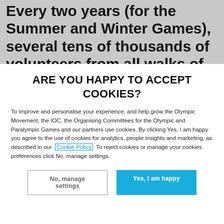Every two years (for the Summer and Winter Games), several tens of thousands of volunteers from all walks of life and with a wide range of skill sets provide assistance to
ARE YOU HAPPY TO ACCEPT COOKIES?
To improve and personalise your experience, and help grow the Olympic Movement, the IOC, the Organising Committees for the Olympic and Paralympic Games and our partners use cookies. By clicking Yes, I am happy you agree to the use of cookies for analytics, people insights and marketing, as described in our Cookie Policy To reject cookies or manage your cookies preferences click No, manage settings.
No, manage settings
Yes, I am happy